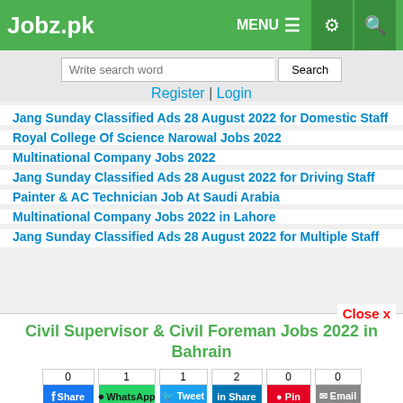Jobz.pk — MENU, settings, search icons
Write search word [Search] | Register | Login
Jang Sunday Classified Ads 28 August 2022 for Domestic Staff
Royal College Of Science Narowal Jobs 2022
Multinational Company Jobs 2022
Jang Sunday Classified Ads 28 August 2022 for Driving Staff
Painter & AC Technician Job At Saudi Arabia
Multinational Company Jobs 2022 in Lahore
Jang Sunday Classified Ads 28 August 2022 for Multiple Staff
Civil Supervisor & Civil Foreman Jobs 2022 in Bahrain
Share: 0 Facebook Share | 1 WhatsApp | 1 Tweet | 2 LinkedIn Share | 0 Pinterest Pin | 0 Email | 0 Recommend
Job Closed | Save | Comment | Print | Back to top